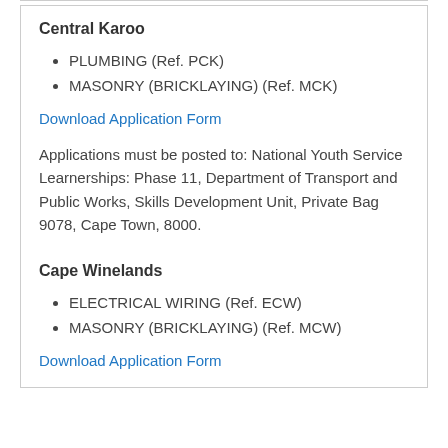Central Karoo
PLUMBING (Ref. PCK)
MASONRY (BRICKLAYING) (Ref. MCK)
Download Application Form
Applications must be posted to: National Youth Service Learnerships: Phase 11, Department of Transport and Public Works, Skills Development Unit, Private Bag 9078, Cape Town, 8000.
Cape Winelands
ELECTRICAL WIRING (Ref. ECW)
MASONRY (BRICKLAYING) (Ref. MCW)
Download Application Form